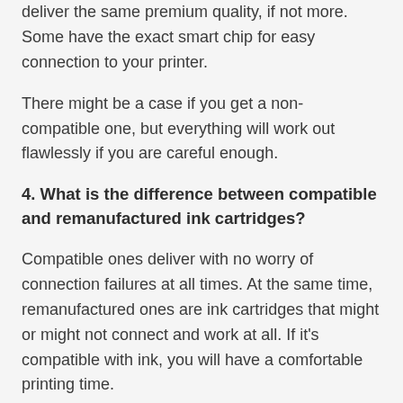deliver the same premium quality, if not more. Some have the exact smart chip for easy connection to your printer.
There might be a case if you get a non-compatible one, but everything will work out flawlessly if you are careful enough.
4. What is the difference between compatible and remanufactured ink cartridges?
Compatible ones deliver with no worry of connection failures at all times. At the same time, remanufactured ones are ink cartridges that might or might not connect and work at all. If it's compatible with ink, you will have a comfortable printing time.